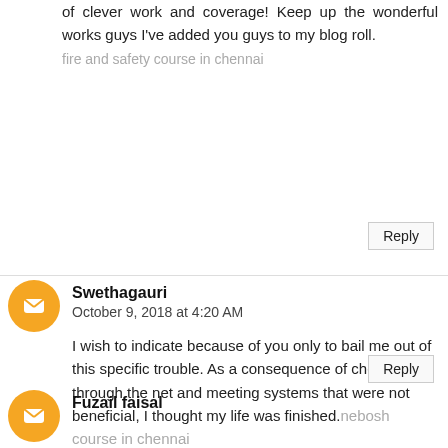of clever work and coverage! Keep up the wonderful works guys I've added you guys to my blog roll.
fire and safety course in chennai
Reply
Swethagauri
October 9, 2018 at 4:20 AM
I wish to indicate because of you only to bail me out of this specific trouble. As a consequence of checking through the net and meeting systems that were not beneficial, I thought my life was finished.nebosh course in chennai
Reply
Fuzail faisal